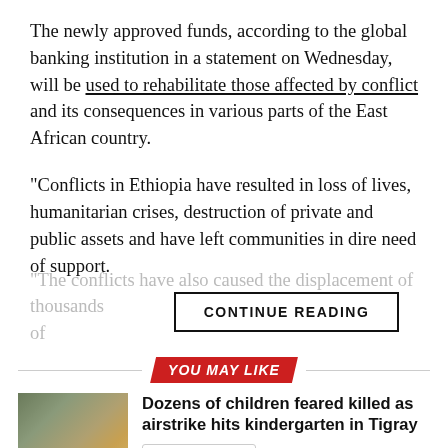The newly approved funds, according to the global banking institution in a statement on Wednesday, will be used to rehabilitate those affected by conflict and its consequences in various parts of the East African country.
“Conflicts in Ethiopia have resulted in loss of lives, humanitarian crises, destruction of private and public assets and have left communities in dire need of support.
“The conflicts have also caused the displacement of thousands...
CONTINUE READING
YOU MAY LIKE
Dozens of children feared killed as airstrike hits kindergarten in Tigray